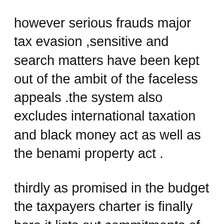however serious frauds major tax evasion ,sensitive and search matters have been kept out of the ambit of the faceless appeals .the system also excludes international taxation and black money act as well as the benami property act .
thirdly as promised in the budget the taxpayers charter is finally here it lists out commitments of the tax department towards the taxpayer ,the charter says the tax department should treat taxpayers as honest unless there is a reason to believe .otherwise it also articulates taxpayers rights and responsibilities and sets out the